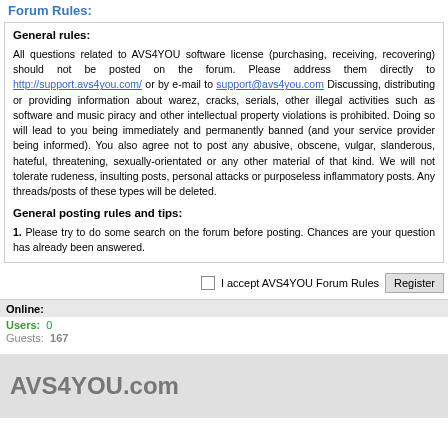Forum Rules:
General rules:
All questions related to AVS4YOU software license (purchasing, receiving, recovering) should not be posted on the forum. Please address them directly to http://support.avs4you.com/ or by e-mail to support@avs4you.com Discussing, distributing or providing information about warez, cracks, serials, other illegal activities such as software and music piracy and other intellectual property violations is prohibited. Doing so will lead to you being immediately and permanently banned (and your service provider being informed). You also agree not to post any abusive, obscene, vulgar, slanderous, hateful, threatening, sexually-orientated or any other material of that kind. We will not tolerate rudeness, insulting posts, personal attacks or purposeless inflammatory posts. Any threads/posts of these types will be deleted.
General posting rules and tips:
1. Please try to do some search on the forum before posting. Chances are your question has already been answered.
I accept AVS4YOU Forum Rules
Online:
Users: 0
Guests: 167
AVS4YOU.com